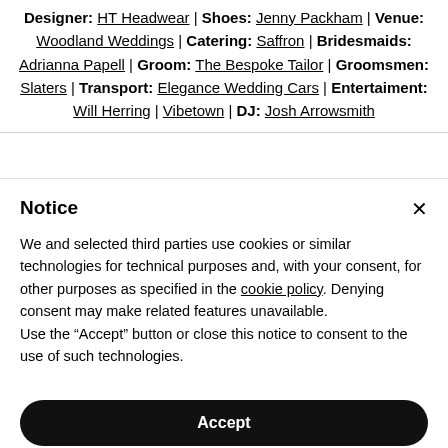Designer: HT Headwear | Shoes: Jenny Packham | Venue: Woodland Weddings | Catering: Saffron | Bridesmaids: Adrianna Papell | Groom: The Bespoke Tailor | Groomsmen: Slaters | Transport: Elegance Wedding Cars | Entertaiment: Will Herring | Vibetown | DJ: Josh Arrowsmith
Notice
We and selected third parties use cookies or similar technologies for technical purposes and, with your consent, for other purposes as specified in the cookie policy. Denying consent may make related features unavailable. Use the "Accept" button or close this notice to consent to the use of such technologies.
Accept
Learn more and customize